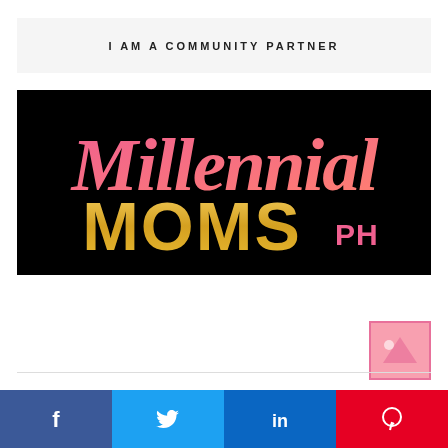I AM A COMMUNITY PARTNER
[Figure (logo): Millennial Moms PH logo — script-style pink-to-coral 'Millennial' text above bold gold 'MOMS' with pink 'PH', all on black background]
[Figure (other): Small pink thumbnail image partially visible at bottom right]
[Figure (other): Social share buttons row: Facebook (blue), Twitter (light blue), LinkedIn (dark blue), Pinterest (red)]